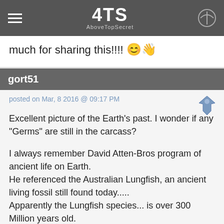4TS AboveTopSecret
much for sharing this!!!!  😊 📌
gort51
posted on Mar, 8 2016 @ 09:17 PM
Excellent picture of the Earth's past. I wonder if any "Germs" are still in the carcass?

I always remember David Atten-Bros program of ancient life on Earth.
He referenced the Australian Lungfish, an ancient living fossil still found today.....
Apparently the Lungfish species... is over 300 Million years old.
The Lungfish was already developed 100 Million years BEFORE the Dinosaurs even arose......
Yet here it still exists, basically identical to its origin.....un-evolved after all this time... OR